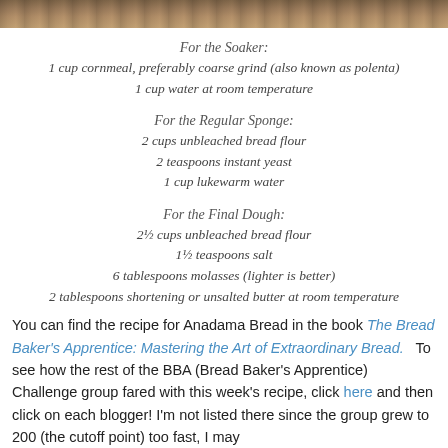[Figure (photo): Top portion of a food photo showing bread, partially cropped at top of page]
For the Soaker:
1 cup cornmeal, preferably coarse grind (also known as polenta)
1 cup water at room temperature
For the Regular Sponge:
2 cups unbleached bread flour
2 teaspoons instant yeast
1 cup lukewarm water
For the Final Dough:
2½ cups unbleached bread flour
1½ teaspoons salt
6 tablespoons molasses (lighter is better)
2 tablespoons shortening or unsalted butter at room temperature
You can find the recipe for Anadama Bread in the book The Bread Baker's Apprentice: Mastering the Art of Extraordinary Bread.   To see how the rest of the BBA (Bread Baker's Apprentice) Challenge group fared with this week's recipe, click here and then click on each blogger! I'm not listed there since the group grew to 200 (the cutoff point) too fast, I may